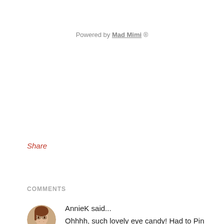Powered by Mad Mimi ®
Share
COMMENTS
AnnieK said...
Ohhhh, such lovely eye candy! Had to Pin Sew Retro, it will be mine someday soon. Oh yes.
March 22, 2013 at 10:11 PM
Unknown said...
nice post! first time i am going to bookmark post